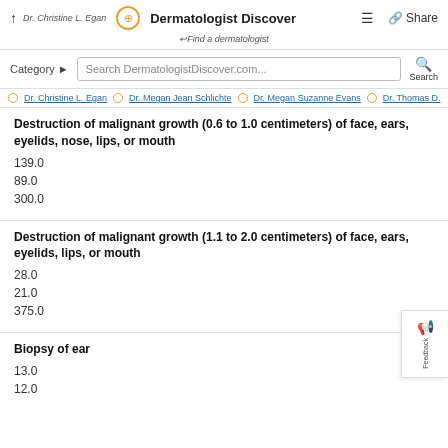Dr. Christine L. Egan | Dermatologist Discover | Share
↩ Find a dermatologist
Category | Search DermatologistDiscover.com... | Search
Dr. Christine L. Egan | Dr. Megan Jean Schlichte | Dr. Megan Suzanne Evans | Dr. Thomas D.
Destruction of malignant growth (0.6 to 1.0 centimeters) of face, ears, eyelids, nose, lips, or mouth
139.0
89.0
300.0
Destruction of malignant growth (1.1 to 2.0 centimeters) of face, ears, eyelids, lips, or mouth
28.0
21.0
375.0
Biopsy of ear
13.0
12.0